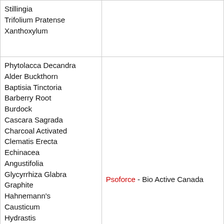| Stillingia
Trifolium Pratense
Xanthoxylum |  |
| Phytolacca Decandra
Alder Buckthorn
Baptisia Tinctoria
Barberry Root
Burdock
Cascara Sagrada
Charcoal Activated
Clematis Erecta
Echinacea Angustifolia
Glycyrrhiza Glabra
Graphite
Hahnemann's Causticum
Hydrastis Canadensis
Mezereum
Oyster Shells
Parsley
Potassium Chloride
Potassium Sulfate
Potassium Officinalis... | Psoforce - Bio Active Canada |